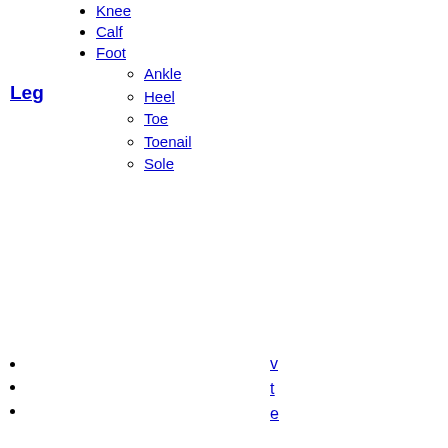Knee
Calf
Foot
Ankle
Heel
Toe
Toenail
Sole
Leg
v
t
e
Muscles of the arm
deltoid
rotator cuff
supraspinatus
infraspinatus
teres minor
subscapularis
teres major
Shoulder
fascia:
deltoid fascia
supraspinous fascia
infraspinous fascia